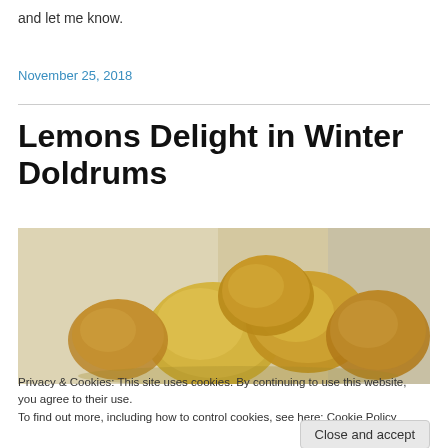and let me know.
November 25, 2018
Lemons Delight in Winter Doldrums
[Figure (photo): Photograph of several yellow lemons on a light surface, viewed from above at a slight angle.]
Privacy & Cookies: This site uses cookies. By continuing to use this website, you agree to their use.
To find out more, including how to control cookies, see here: Cookie Policy
Close and accept
[Figure (photo): Bottom strip showing lemons, partially visible at the bottom of the page.]